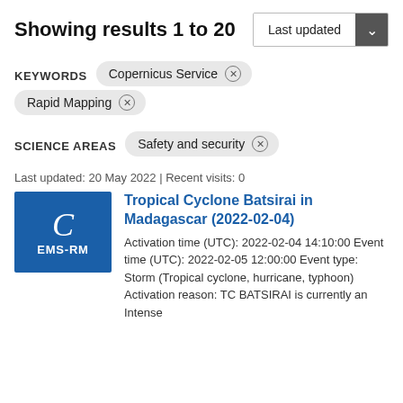Showing results 1 to 20
Last updated (sort dropdown)
KEYWORDS  Copernicus Service ×  Rapid Mapping ×
SCIENCE AREAS  Safety and security ×
Last updated: 20 May 2022 | Recent visits: 0
Tropical Cyclone Batsirai in Madagascar (2022-02-04)
Activation time (UTC): 2022-02-04 14:10:00 Event time (UTC): 2022-02-05 12:00:00 Event type: Storm (Tropical cyclone, hurricane, typhoon) Activation reason: TC BATSIRAI is currently an Intense